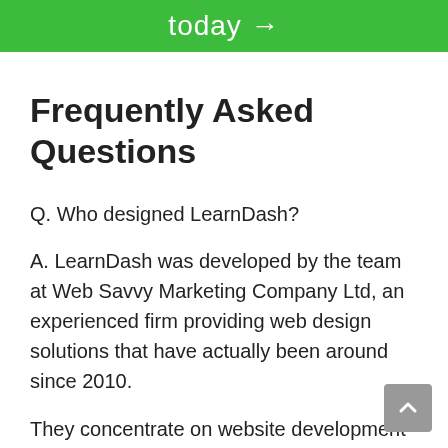today →
Frequently Asked Questions
Q. Who designed LearnDash?
A. LearnDash was developed by the team at Web Savvy Marketing Company Ltd, an experienced firm providing web design solutions that have actually been around since 2010.
They concentrate on website development